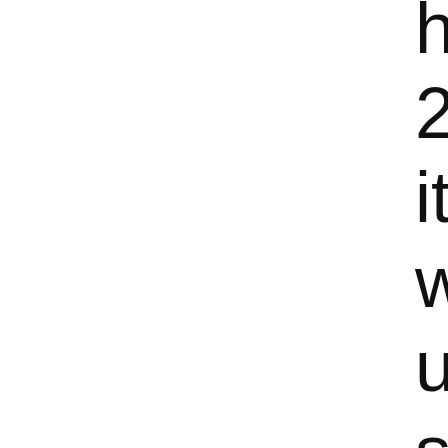hits in Nigeria, 2011, declares, it was his reaction website Bella N up by the police studio. “One thing abou poor, happy or